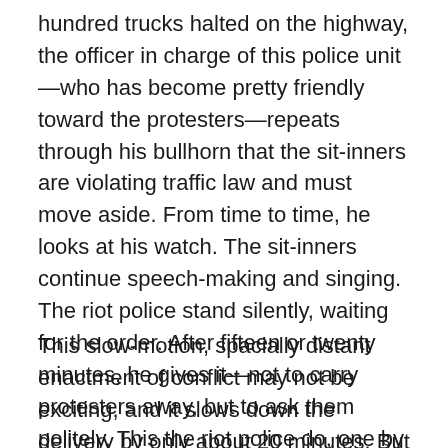hundred trucks halted on the highway, the officer in charge of this police unit—who has become pretty friendly toward the protesters—repeats through his bullhorn that the sit-inners are violating traffic law and must move aside. From time to time, he looks at his watch. The sit-inners continue speech-making and singing. The riot police stand silently, waiting for the order. After fifteen or twenty minutes, he gives it—not to carry protesters away, but to ask them politely. This the riot police do, one by one. The protesters refuse, and refuse, and refuse again, but when the policemen make as if to pick them up, they stand up and amble to the side.
This slow-motion, spacially distant enactment of conflict may not be exciting, and it slows down the delivery by only about 20 minutes. But repeated three times, that's one lost hour a day. More important, the sit-in deprives the builders